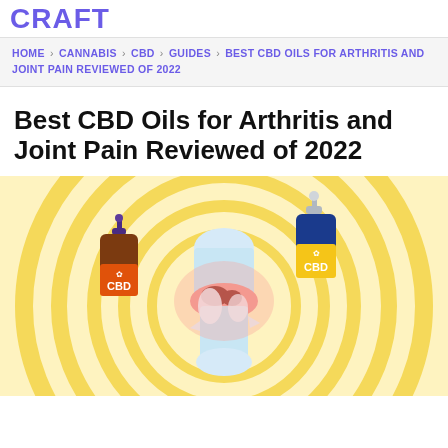CRAFT
HOME › CANNABIS › CBD › GUIDES › BEST CBD OILS FOR ARTHRITIS AND JOINT PAIN REVIEWED OF 2022
Best CBD Oils for Arthritis and Joint Pain Reviewed of 2022
[Figure (illustration): Illustration showing an inflamed knee joint in the center with concentric yellow circles in the background, flanked by two CBD oil dropper bottles — a brown bottle on the left with an orange label reading CBD, and a blue bottle on the right with a yellow label reading CBD.]